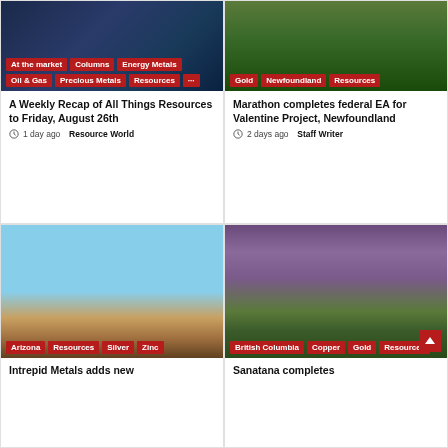[Figure (photo): Dark blue abstract/digital background image with category tags: At the market, Columns, Energy Metals, Oil & Gas, Precious Metals, Resources]
A Weekly Recap of All Things Resources to Friday, August 26th
1 day ago  Resource World
[Figure (photo): Aerial photo of forested area with industrial site, with category tags: Gold, Newfoundland, Resources]
Marathon completes federal EA for Valentine Project, Newfoundland
2 days ago  Staff Writer
[Figure (photo): Desert landscape in Arizona with rocky hills and sandy terrain, category tags: Arizona, Resources, Silver, Zinc]
Intrepid Metals adds new
[Figure (photo): Mountain landscape in British Columbia with snow-capped peaks and green valleys, category tags: British Columbia, Copper, Gold, Resources]
Sanatana completes